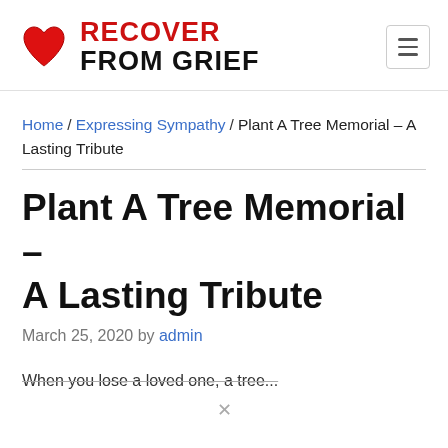[Figure (logo): Recover From Grief website logo with red heart icon and site name in red and black bold text]
Home / Expressing Sympathy / Plant A Tree Memorial – A Lasting Tribute
Plant A Tree Memorial – A Lasting Tribute
March 25, 2020 by admin
When you lose a loved one, a tree...